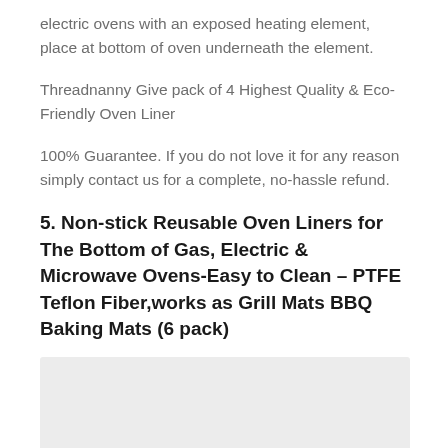electric ovens with an exposed heating element, place at bottom of oven underneath the element.
Threadnanny Give pack of 4 Highest Quality & Eco-Friendly Oven Liner
100% Guarantee. If you do not love it for any reason simply contact us for a complete, no-hassle refund.
5. Non-stick Reusable Oven Liners for The Bottom of Gas, Electric & Microwave Ovens-Easy to Clean – PTFE Teflon Fiber,works as Grill Mats BBQ Baking Mats (6 pack)
[Figure (photo): Product image placeholder, light gray background]